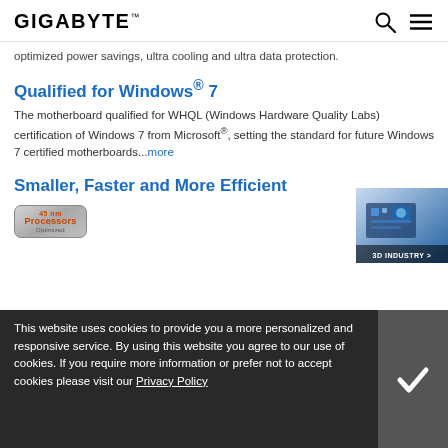GIGABYTE
optimized power savings, ultra cooling and ultra data protection.
Qualified for Windows® 7
The motherboard qualified for WHQL (Windows Hardware Quality Labs) certification of Windows 7 from Microsoft®, setting the standard for future Windows 7 certified motherboards...more
Smaller, Faster and More Efficient
[Figure (logo): 45nm Processors badge/logo]
[Figure (illustration): 3D Industry motherboard/circuit board illustration with '3D INDUSTRY >' label]
This website uses cookies to provide you a more personalized and responsive service. By using this website you agree to our use of cookies. If you require more information or prefer not to accept cookies please visit our Privacy Policy